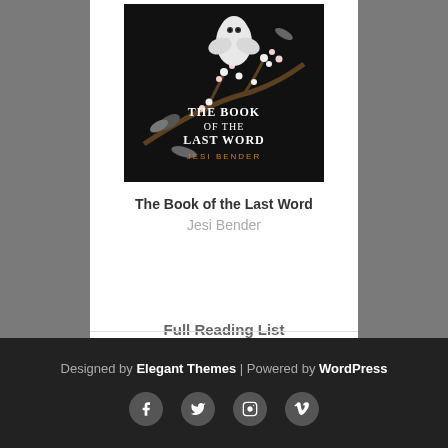[Figure (illustration): Book cover of 'The Book of the Last Word' by Jesi Bender — dark background with white bird, flowering branches, and moths; title text overlay in white with author name in orange.]
The Book of the Last Word
Jesi Bender
Full Reading List
Designed by Elegant Themes | Powered by WordPress